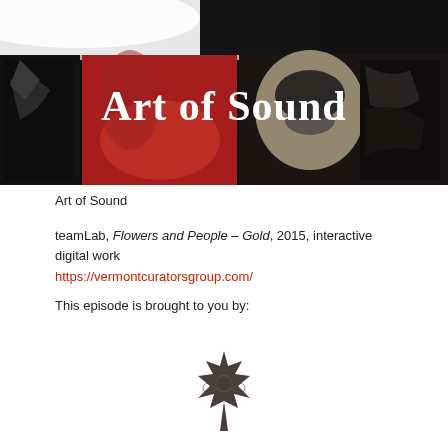[Figure (photo): Banner image with text 'Art of Sound' over collaged artwork showing abstract black and white prints with red panel on left]
Art of Sound
teamLab, Flowers and People – Gold, 2015, interactive digital work
https://vermontcuratorsgroup.com/
This episode is brought to you by:
[Figure (logo): Dark bronze/brown maple leaf logo with decorative Celtic-style knot patterns inside]